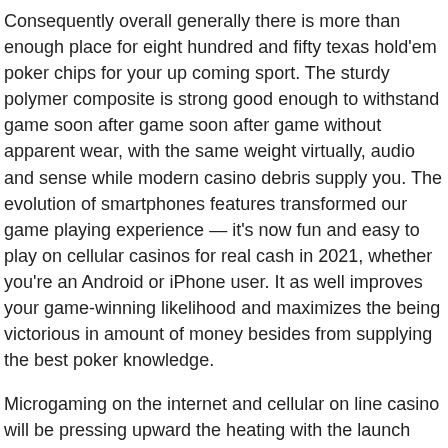Consequently overall generally there is more than enough place for eight hundred and fifty texas hold'em poker chips for your up coming sport. The sturdy polymer composite is strong good enough to withstand game soon after game soon after game without apparent wear, with the same weight virtually, audio and sense while modern casino debris supply you. The evolution of smartphones features transformed our game playing experience — it's now fun and easy to play on cellular casinos for real cash in 2021, whether you're an Android or iPhone user. It as well improves your game-winning likelihood and maximizes the being victorious in amount of money besides from supplying the best poker knowledge.
Microgaming on the internet and cellular on line casino will be pressing upward the heating with the launch associated with 3 very hot different spots this summer. These $1.00 Casino Poker Chips For Sale search like a casino floor; if you lowered these, they would merge it with the rug consequently continue to keep